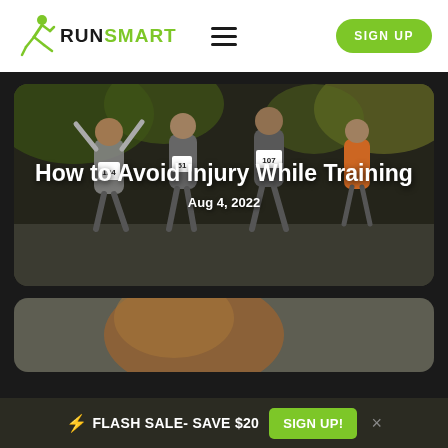[Figure (logo): RunSmart logo with green running figure icon and RUNSMART text]
[Figure (photo): Group of runners in a race, woman with arms raised wearing bib 124, man wearing bib 107 in background]
How to Avoid Injury While Training
Aug 4, 2022
[Figure (photo): Partial view of a runner in orange/tan top, image cut off at bottom]
⚡ FLASH SALE- SAVE $20  SIGN UP!  ×